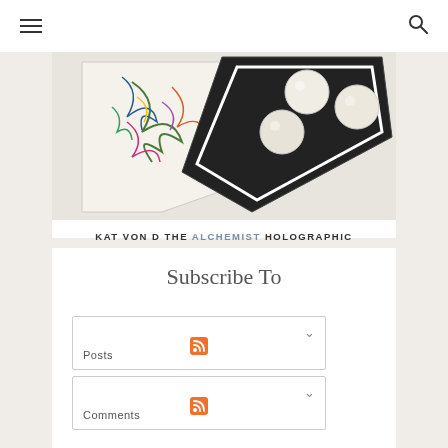Navigation menu and search icon
[Figure (photo): Makeup palettes laid flat — one with colorful illustration/feather design, one black palette with circular eyeshadow pans showing neutral/white shades]
KAT VON D THE ALCHEMIST HOLOGRAPHIC PALETTE
Subscribe To
Posts
Comments